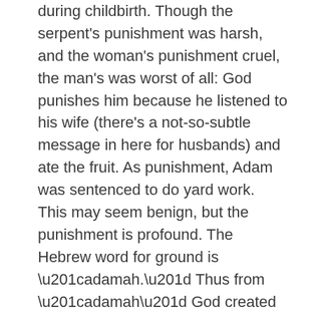during childbirth. Though the serpent's punishment was harsh, and the woman's punishment cruel, the man's was worst of all: God punishes him because he listened to his wife (there's a not-so-subtle message in here for husbands) and ate the fruit. As punishment, Adam was sentenced to do yard work. This may seem benign, but the punishment is profound. The Hebrew word for ground is “adamah.” Thus from “adamah” God created Adam. The English equivalent would be, from earth God fashioned earthling. The punishment, in other words, separates Adam from the source of his identity. The ground would no longer recognize Adam and produce for him. A part of him would be lost. Though he ate from the tree of knowledge, he will not know who he is, know where he came from or know where he is headed. The story concludes with the man and woman cast out of the garden, and God arming angelic beings with flaming swords to guard its entrance and prevent humankind from turning back and eating from the tree of eternal life. God denies eternal life to